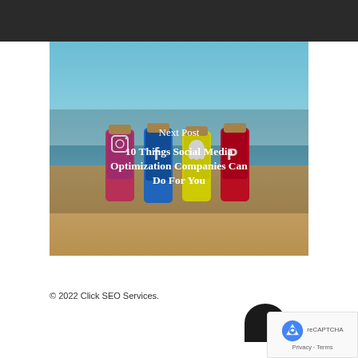[Figure (photo): Beach scene with social media icon bottles (Instagram, Facebook, Snapchat, Pinterest) stuck in sand, with overlay text 'Next Post' and '10 Things Social Media Optimization Companies Can Do For You']
Next Post
10 Things Social Media Optimization Companies Can Do For You
© 2022 Click SEO Services.